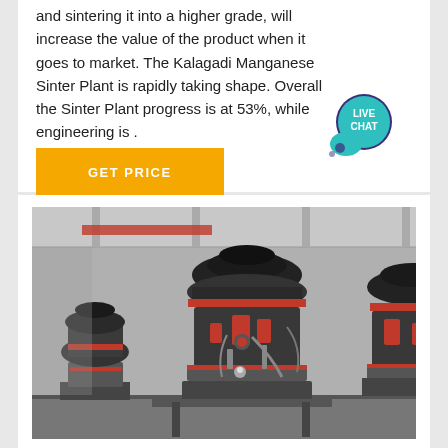and sintering it into a higher grade, will increase the value of the product when it goes to market. The Kalagadi Manganese Sinter Plant is rapidly taking shape. Overall the Sinter Plant progress is at 53%, while engineering is .
[Figure (other): Live Chat speech bubble icon — teal/blue circle with 'LIVE CHAT' text]
[Figure (photo): Industrial cone crushers (heavy mining equipment) in a factory/warehouse setting — large dark grey and red machinery on metal frames]